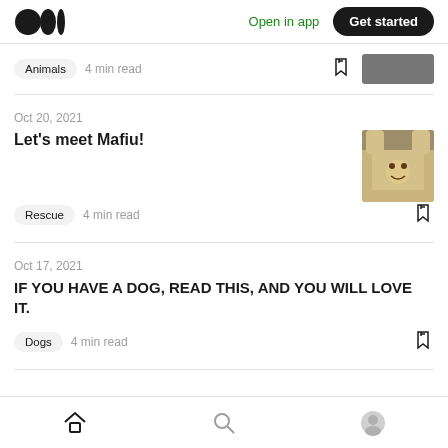Medium logo | Open in app | Get started
Animals · 4 min read
Oct 20, 2021
Let's meet Mafiu!
Rescue · 4 min read
Oct 17, 2021
IF YOU HAVE A DOG, READ THIS, AND YOU WILL LOVE IT.
Dogs · 4 min read
Home | Search | Profile